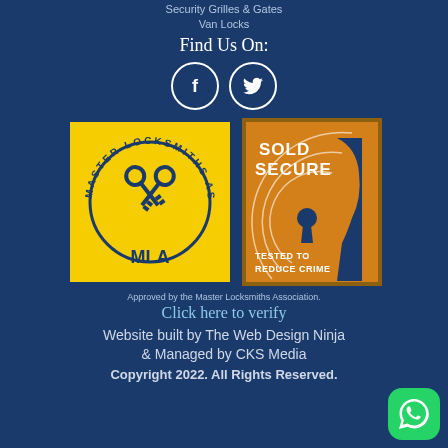Security Grilles & Gates
Van Locks
Find Us On:
[Figure (logo): Facebook and Twitter social media icons in white circles with dark blue outline]
[Figure (logo): Master Locksmiths Association (MLA) logo on yellow background with crossed keys and circular text, and Sold Secure badge with orange background showing a face profile and keyhole with text TESTED TO REDUCE CRIME]
Approved by the Master Locksmiths Association.
Click here to verify
Website built by The Web Design Ninja & Managed by CKS Media
Copyright 2022. All Rights Reserved.